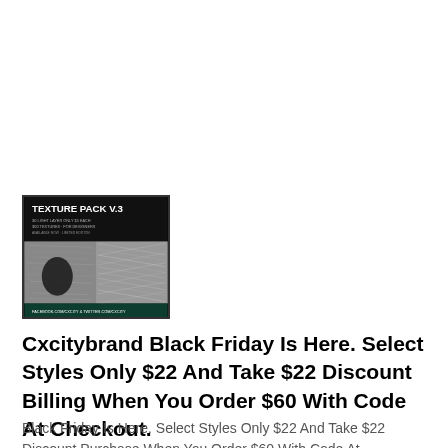[Figure (photo): Product thumbnail image for 'Texture Pack V.3' — dark background with white bold text at top reading 'TEXTURE PACK V.3', smaller subtitle text below, and texture sample images in the lower portion showing grainy/scratchy textures including a dark blotch shape. Footer bar with social media handles.]
Cxcitybrand Black Friday Is Here. Select Styles Only $22 And Take $22 Discount Billing When You Order $60 With Code At Checkout.
Black Friday Is Here. Select Styles Only $22 And Take $22 Discount Purchase When You Order $60 With Code At